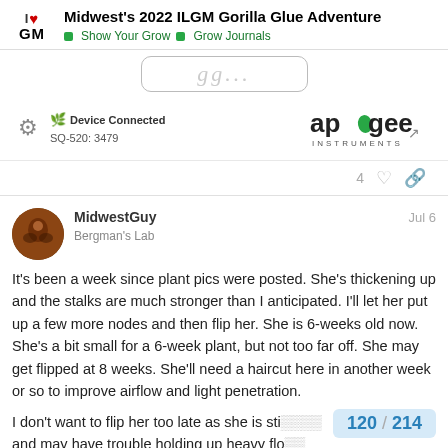Midwest's 2022 ILGM Gorilla Glue Adventure | Show Your Grow | Grow Journals
[Figure (screenshot): Partial advertisement banner with cursive text, partially visible]
[Figure (screenshot): Device Connected widget showing SQ-520: 3479 with gear icon and Apogee Instruments logo]
4 (likes) and link icon
MidwestGuy
Bergman's Lab
Jul 6
It's been a week since plant pics were posted. She's thickening up and the stalks are much stronger than I anticipated. I'll let her put up a few more nodes and then flip her. She is 6-weeks old now. She's a bit small for a 6-week plant, but not too far off. She may get flipped at 8 weeks. She'll need a haircut here in another week or so to improve airflow and light penetration.

I don't want to flip her too late as she is sti... and may have trouble holding up heavy flo...
120 / 214